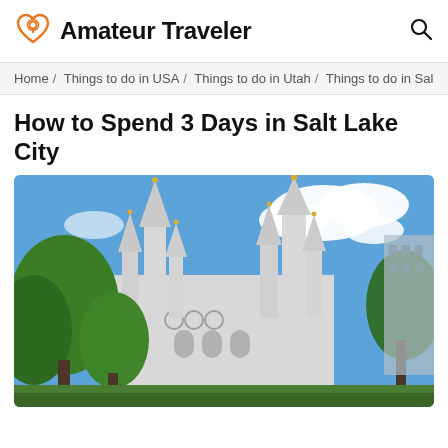Amateur Traveler
Home / Things to do in USA / Things to do in Utah / Things to do in Sal
How to Spend 3 Days in Salt Lake City
[Figure (photo): Exterior photo of the Salt Lake Temple with green trees and blue sky with white clouds in the background]